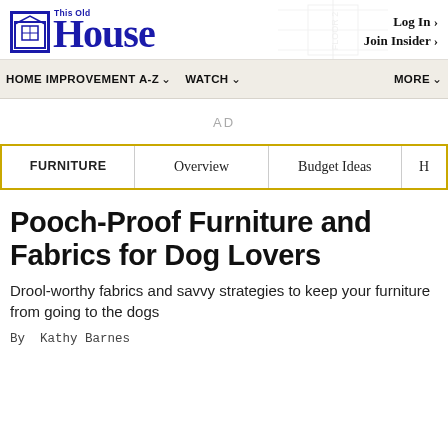This Old House | Log In › | Join Insider ›
HOME IMPROVEMENT A-Z ∨  WATCH ∨  MORE ∨
AD
| FURNITURE | Overview | Budget Ideas | H |
| --- | --- | --- | --- |
Pooch-Proof Furniture and Fabrics for Dog Lovers
Drool-worthy fabrics and savvy strategies to keep your furniture from going to the dogs
By  Kathy Barnes